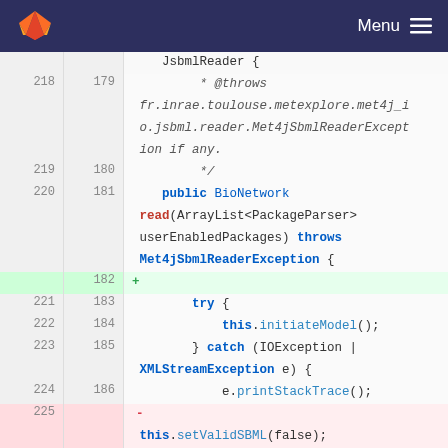Menu
[Figure (screenshot): GitLab-style code diff view showing Java source code with line numbers. Lines 218-227 (old) and 179-188 (new) are shown. Line 182 is an added line (green, '+'), line 225 is a removed line (red, '-'). Code includes a class JsbmlReader, a public BioNetwork read() method throwing Met4jSbmlReaderException, try/catch block with IOException | XMLStreamException, and this.setValidSBML(false).]